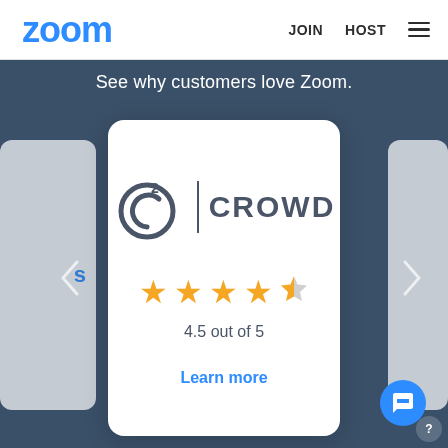zoom   JOIN   HOST
See why customers love Zoom.
[Figure (other): G2 Crowd review card showing 4.5 out of 5 star rating with Learn more link, flanked by carousel navigation arrows and partially visible adjacent cards, on a dark blue-grey background.]
4.5 out of 5
Learn more